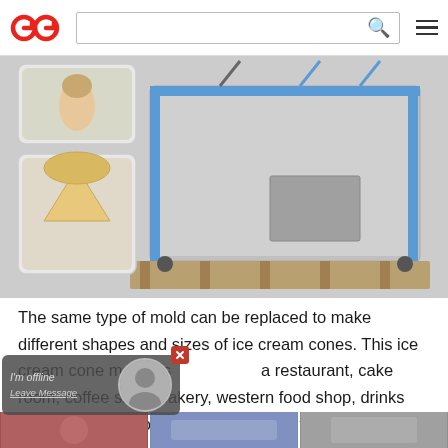GG logo, search bar, hamburger menu
[Figure (photo): Ice cream cone making machine (stainless steel, blue accents, on wooden pallet) with inset photos of waffle cones being held and a finished cone]
The same type of mold can be replaced to make different shapes and sizes of ice cream cones. This ice cream cone maker is suitable for a restaurant, cake room, coffee shop, bakery, western food shop, drinks shop, Chinese food shop, leisure food factory and so on.
[Figure (screenshot): Live chat widget overlay showing 'I'm offline' and 'Leave Message' with avatar and close button]
[Figure (photo): Bottom strip of three product/scene images partially visible]